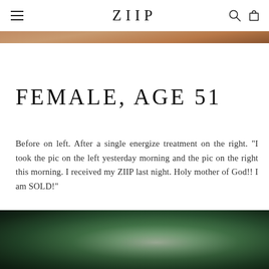[Figure (photo): Top partial image showing skin/face close-up in warm brown tones — a before/after comparison photo cropped at the top of the page]
ZIIP (brand logo with hamburger menu, search icon, and cart icon)
FEMALE, AGE 51
Before on left. After a single energize treatment on the right. "I took the pic on the left yesterday morning and the pic on the right this morning. I received my ZIIP last night. Holy mother of God!! I am SOLD!"
[Figure (photo): Bottom partial image showing dark green bokeh/nature background — beginning of the next product or testimonial section]